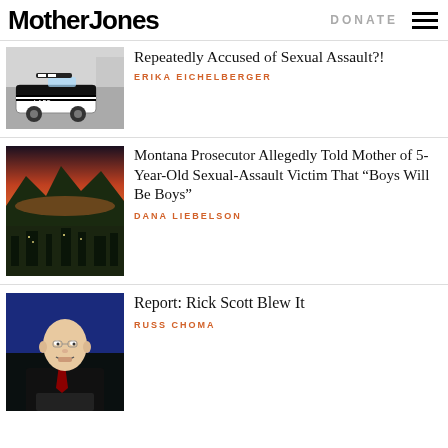Mother Jones | DONATE | menu
[Figure (photo): LAPD police car on street]
Repeatedly Accused of Sexual Assault?!
ERIKA EICHELBERGER
[Figure (photo): Aerial sunset view of a city with mountains in background]
Montana Prosecutor Allegedly Told Mother of 5-Year-Old Sexual-Assault Victim That “Boys Will Be Boys”
DANA LIEBELSON
[Figure (photo): Bald man in suit speaking at podium with blue background]
Report: Rick Scott Blew It
RUSS CHOMA